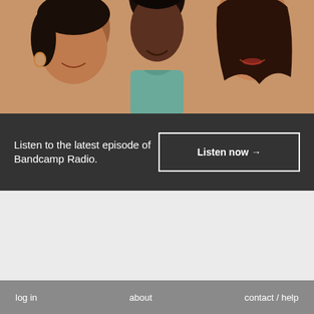[Figure (photo): Three women smiling together, close-up portrait photo with warm skin tones and a teal hoodie visible in center]
Listen to the latest episode of Bandcamp Radio.
Listen now →
log in   about   contact / help